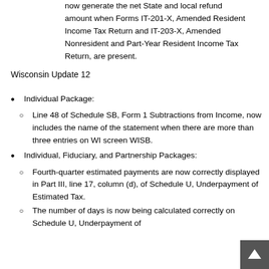now generate the net State and local refund amount when Forms IT-201-X, Amended Resident Income Tax Return and IT-203-X, Amended Nonresident and Part-Year Resident Income Tax Return, are present.
Wisconsin Update 12
Individual Package:
Line 48 of Schedule SB, Form 1 Subtractions from Income, now includes the name of the statement when there are more than three entries on WI screen WISB.
Individual, Fiduciary, and Partnership Packages:
Fourth-quarter estimated payments are now correctly displayed in Part III, line 17, column (d), of Schedule U, Underpayment of Estimated Tax.
The number of days is now being calculated correctly on Schedule U, Underpayment of